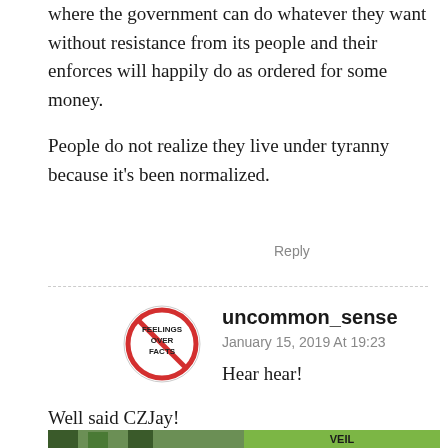where the government can do whatever they want without resistance from its people and their enforces will happily do as ordered for some money.
People do not realize they live under tyranny because it's been normalized.
Reply
uncommon_sense
January 15, 2019 At 19:23
Hear hear!
Well said CZJay!
[Figure (photo): Photo of a person in camouflage in a tree, next to a green Veil Camo advertisement logo]